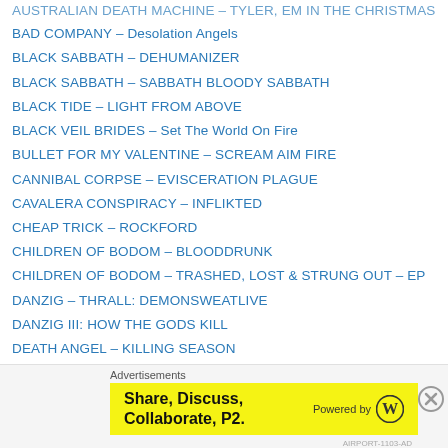BAD COMPANY – Desolation Angels
BLACK SABBATH – DEHUMANIZER
BLACK SABBATH – SABBATH BLOODY SABBATH
BLACK TIDE – LIGHT FROM ABOVE
BLACK VEIL BRIDES – Set The World On Fire
BULLET FOR MY VALENTINE – SCREAM AIM FIRE
CANNIBAL CORPSE – EVISCERATION PLAGUE
CAVALERA CONSPIRACY – INFLIKTED
CHEAP TRICK – ROCKFORD
CHILDREN OF BODOM – BLOODDRUNK
CHILDREN OF BODOM – TRASHED, LOST & STRUNG OUT – EP
DANZIG – THRALL: DEMONSWEATLIVE
DANZIG III: HOW THE GODS KILL
DEATH ANGEL – KILLING SEASON
DEEP PURPLE – PERFECT STRANGERS
DEF LEPPARD – EUPHORIA
Advertisements
[Figure (other): Advertisement banner: Share, Discuss, Collaborate, P2. Powered by WordPress logo on yellow background.]